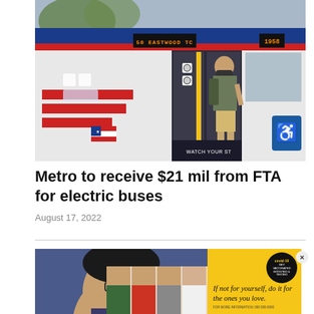[Figure (photo): A person wearing a mask and carrying a backpack steps off a public transit bus labeled '50 EASTWOOD TC'. The bus is white with red and blue stripes and an American flag decal. A wheelchair accessibility sign is visible on the right side of the bus.]
Metro to receive $21 mil from FTA for electric buses
August 17, 2022
[Figure (photo): Advertisement showing multiple people smiling with text 'If not for yourself, do it for the ones you love.' alongside a covid-19 badge promoting vaccination and testing.]